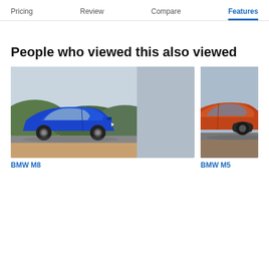Pricing | Review | Compare | Features
People who viewed this also viewed
[Figure (photo): Blue BMW M8 coupe driving on a road with hills in the background]
BMW M8
[Figure (photo): Orange BMW M5 partially visible on the right side]
BMW M5